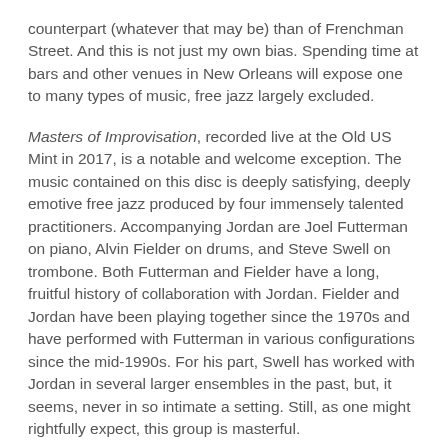counterpart (whatever that may be) than of Frenchman Street. And this is not just my own bias. Spending time at bars and other venues in New Orleans will expose one to many types of music, free jazz largely excluded.
Masters of Improvisation, recorded live at the Old US Mint in 2017, is a notable and welcome exception. The music contained on this disc is deeply satisfying, deeply emotive free jazz produced by four immensely talented practitioners. Accompanying Jordan are Joel Futterman on piano, Alvin Fielder on drums, and Steve Swell on trombone. Both Futterman and Fielder have a long, fruitful history of collaboration with Jordan. Fielder and Jordan have been playing together since the 1970s and have performed with Futterman in various configurations since the mid-1990s. For his part, Swell has worked with Jordan in several larger ensembles in the past, but, it seems, never in so intimate a setting. Still, as one might rightfully expect, this group is masterful.
The album's first track, aptly titled “Expansion,” begins with a disjointed back-and-forth between musicians that almost